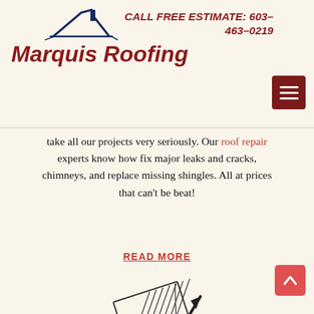[Figure (logo): Marquis Roofing logo with roof/chimney icon above bold italic red text 'Marquis Roofing']
CALL FREE ESTIMATE: 603-463-0219
[Figure (other): Hamburger menu button (dark red square with three horizontal white lines)]
take all our projects very seriously. Our roof repair experts know how fix major leaks and cracks, chimneys, and replace missing shingles. All at prices that can't be beat!
READ MORE
[Figure (illustration): Roof shingle cleaning icon - diagonal roof panel with wavy lines at bottom and upward arrow]
Roof Cleaning
We clean all kinds of roofs from residential asphalt to
[Figure (other): Red scroll-to-top button with upward chevron arrow]